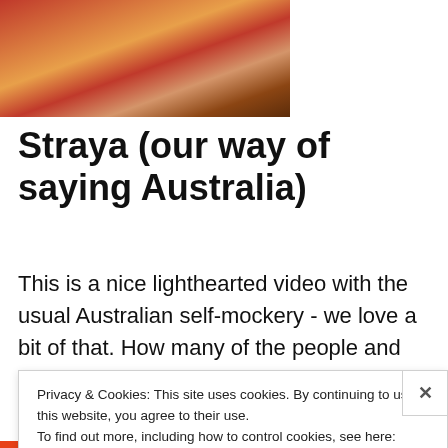[Figure (photo): Close-up photo of raw meat cuts and crumbed sausages/rissoles on a dark surface]
Straya (our way of saying Australia)
This is a nice lighthearted video with the usual Australian self-mockery - we love a bit of that. How many of the people and places can you identify? Kudos to the person
Privacy & Cookies: This site uses cookies. By continuing to use this website, you agree to their use.
To find out more, including how to control cookies, see here: Cookie Policy
Close and accept